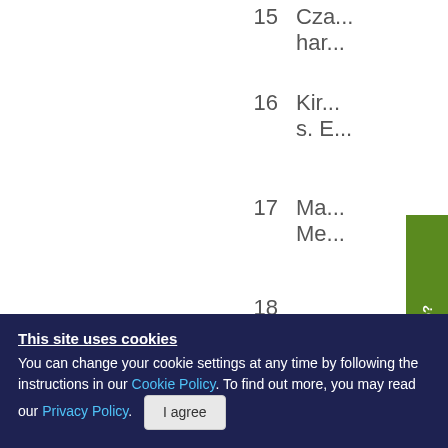15  Cza... har...
16  Kir... s. E...
17  Ma... Me...
18
[Figure (other): Green 'Need help?' vertical tab button on right side of page]
19  Her...
This site uses cookies
You can change your cookie settings at any time by following the instructions in our Cookie Policy. To find out more, you may read our Privacy Policy. I agree